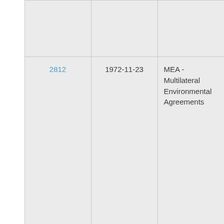|  | ID | Date | Type |
| --- | --- | --- | --- |
|  |  |  |  |
|  | 2812 | 1972-11-23 | MEA - Multilateral Environmental Agreements |
|  | 2813 | 1972-12-29 | MEA - Multilateral Environmental Agreements |
|  | 2814 | 1973-03-03 | MEA - Multilateral Environmental |